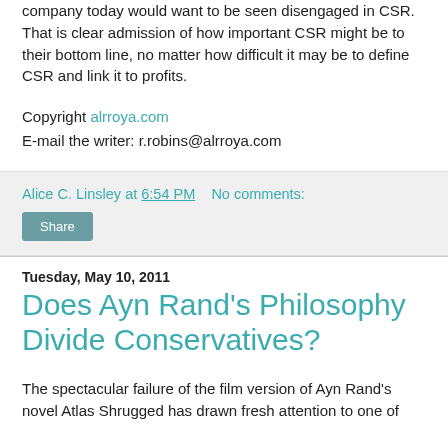company today would want to be seen disengaged in CSR. That is clear admission of how important CSR might be to their bottom line, no matter how difficult it may be to define CSR and link it to profits.
Copyright alrroya.com
E-mail the writer: r.robins@alrroya.com
Alice C. Linsley at 6:54 PM    No comments:
Share
Tuesday, May 10, 2011
Does Ayn Rand's Philosophy Divide Conservatives?
The spectacular failure of the film version of Ayn Rand's novel Atlas Shrugged has drawn fresh attention to one of